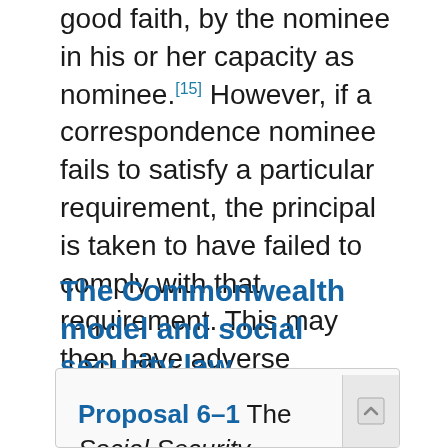good faith, by the nominee in his or her capacity as nominee.[15] However, if a correspondence nominee fails to satisfy a particular requirement, the principal is taken to have failed to comply with that requirement. This may then have adverse consequences in terms of compliance and payments.[16]
The Commonwealth model and social security law
Proposal 6–1 The Social Security (Administration) Act 1999 (Cth) should be amended to include